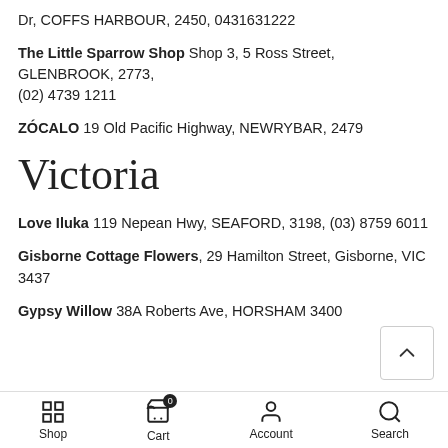Dr, COFFS HARBOUR, 2450, 0431631222
The Little Sparrow Shop Shop 3, 5 Ross Street, GLENBROOK, 2773, (02) 4739 1211
ZÓCALO 19 Old Pacific Highway, NEWRYBAR, 2479
Victoria
Love Iluka 119 Nepean Hwy, SEAFORD, 3198, (03) 8759 6011
Gisborne Cottage Flowers, 29 Hamilton Street, Gisborne, VIC 3437
Gypsy Willow 38A Roberts Ave, HORSHAM 3400
Shop  Cart  Account  Search